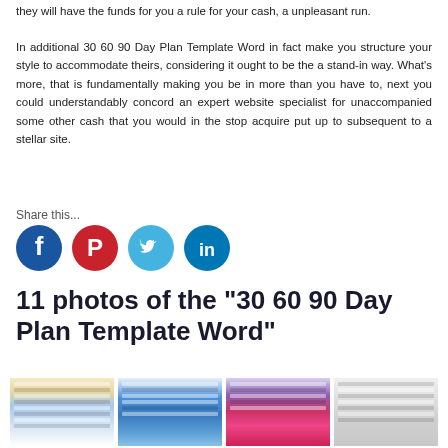they will have the funds for you a rule for your cash, a unpleasant run.
In additional 30 60 90 Day Plan Template Word in fact make you structure your style to accommodate theirs, considering it ought to be the a stand-in way. What's more, that is fundamentally making you be in more than you have to, next you could understandably concord an expert website specialist for unaccompanied some other cash that you would in the stop acquire put up to subsequent to a stellar site.
Share this...
[Figure (infographic): Social media share icons: Facebook (dark blue circle with white f), Pinterest (red circle with white P), Twitter (light blue circle with white bird), LinkedIn (blue circle with white in)]
11 photos of the "30 60 90 Day Plan Template Word"
[Figure (photo): Four thumbnail images of 30 60 90 Day Plan Template Word documents]